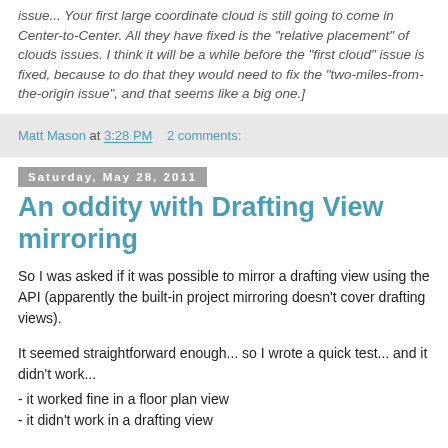issue... Your first large coordinate cloud is still going to come in Center-to-Center. All they have fixed is the "relative placement" of clouds issues. I think it will be a while before the "first cloud" issue is fixed, because to do that they would need to fix the "two-miles-from-the-origin issue", and that seems like a big one.]
Matt Mason at 3:28 PM    2 comments:
Saturday, May 28, 2011
An oddity with Drafting View mirroring
So I was asked if it was possible to mirror a drafting view using the API (apparently the built-in project mirroring doesn't cover drafting views).
It seemed straightforward enough... so I wrote a quick test... and it didn't work...
- it worked fine in a floor plan view
- it didn't work in a drafting view